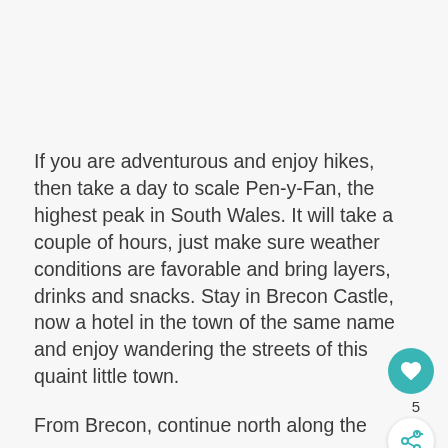If you are adventurous and enjoy hikes, then take a day to scale Pen-y-Fan, the highest peak in South Wales. It will take a couple of hours, just make sure weather conditions are favorable and bring layers, drinks and snacks. Stay in Brecon Castle, now a hotel in the town of the same name and enjoy wandering the streets of this quaint little town.
From Brecon, continue north along the